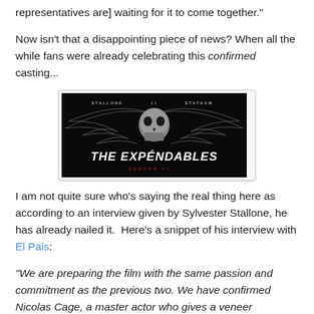representatives are] waiting for it to come together."
Now isn't that a disappointing piece of news? When all the while fans were already celebrating this confirmed casting...
[Figure (photo): The Expendables movie promotional poster/logo featuring a winged skull design with text 'THE EXPENDABLES' and 'SEMPER FI...' below, credits for Stallone, Li, and Statham at top.]
I am not quite sure who's saying the real thing here as according to an interview given by Sylvester Stallone, he has already nailed it.  Here's a snippet of his interview with El Pais:
"We are preparing the film with the same passion and commitment as the previous two. We have confirmed Nicolas Cage, a master actor who gives a veneer intellectual group. Hopefully we can realize to Harrison Ford, Wesley Snipes and Mickey Rourke. That is the great mission of the